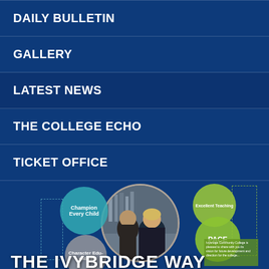DAILY BULLETIN
GALLERY
LATEST NEWS
THE COLLEGE ECHO
TICKET OFFICE
[Figure (infographic): Infographic showing 'The Ivybridge Way' with circular bubble diagrams labeled Champion Every Child, Character Education, Excellent Teaching, PACE, overlaid on a photo of a teacher and student, with dashed rectangle borders and a green text box.]
THE IVYBRIDGE WAY